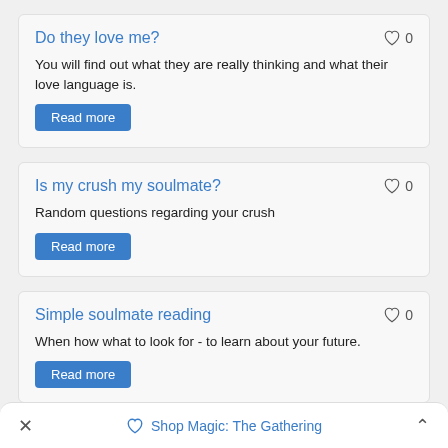Do they love me?
You will find out what they are really thinking and what their love language is.
Read more
Is my crush my soulmate?
Random questions regarding your crush
Read more
Simple soulmate reading
When how what to look for - to learn about your future.
Read more
Shop Magic: The Gathering